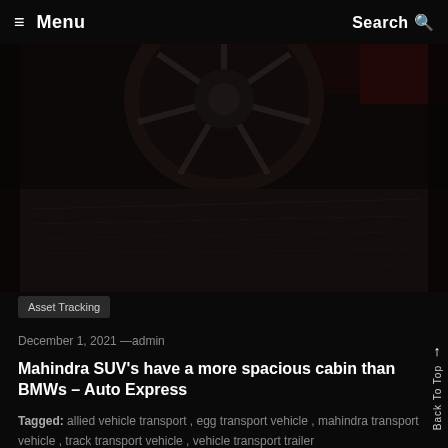≡ Menu   Search 🔍
[Figure (photo): Dark photograph of a car wheel/tire viewed from below, with a decorative alloy wheel visible at top and a dark surface below. Very low-key lighting, mostly dark tones with hints of red on the right side.]
Asset Tracking
December 1, 2021 —admin
Mahindra SUV's have a more spacious cabin than BMWs – Auto Express
Tagged: allied vehicle transport , egg transport vehicle , mahindra transport vehicle , track transport vehicle , vehicle transport trailer